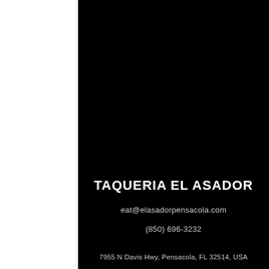TAQUERIA EL ASADOR
eat@elasadorpensacola.com
(850) 696-3232
7955 N Davis Hwy, Pensacola, FL 32514, USA